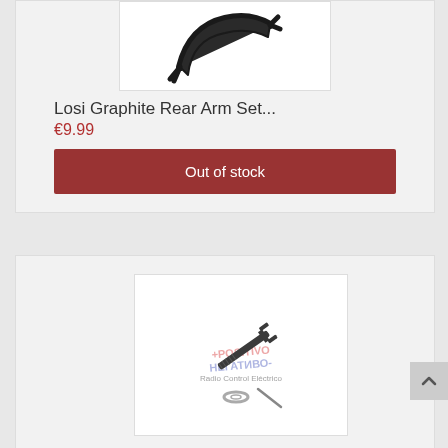[Figure (photo): Photo of Losi Graphite Rear Arm Set product — dark plastic rear arm component on white background]
Losi Graphite Rear Arm Set...
€9.99
Out of stock
[Figure (photo): Photo of a small RC car part — a threaded bolt/dogbone with a washer and pin, with +POSITIVO NEGATIVO- Radio Control Eléctrico watermark on white background]